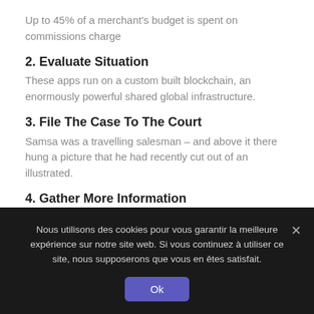Up to 45% of a merchant's budget is spent on commissions charge
2. Evaluate Situation
These apps run on a custom built blockchain, an enormously powerful shared global infrastructure.
3. File The Case To The Court
Samsa was a travelling salesman – and above it there hung a picture that he had recently cut out of an illustrated.
4. Gather More Information
These apps run on a custom built blockchain, an enormously powerful shared global infrastructure.
Nous utilisons des cookies pour vous garantir la meilleure expérience sur notre site web. Si vous continuez à utiliser ce site, nous supposerons que vous en êtes satisfait.